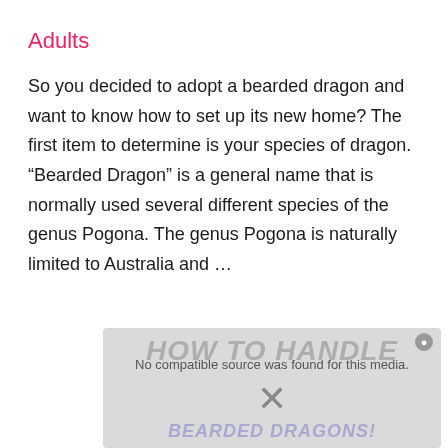Adults
So you decided to adopt a bearded dragon and want to know how to set up its new home? The first item to determine is your species of dragon. “Bearded Dragon” is a general name that is normally used several different species of the genus Pogona. The genus Pogona is naturally limited to Australia and …
[Figure (screenshot): A media player overlay showing 'No compatible source was found for this media.' with an X close button and background text reading 'HOW TO HANDLE' and 'BEARDED DRAGONS!' partially visible behind the overlay.]